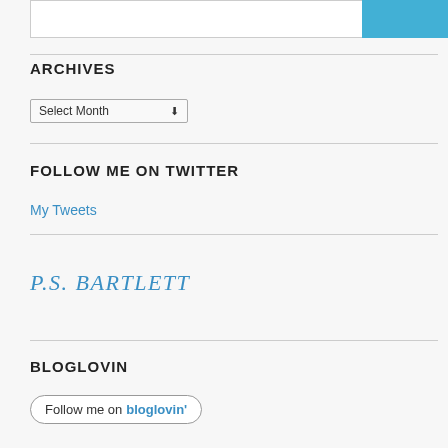ARCHIVES
Select Month
FOLLOW ME ON TWITTER
My Tweets
P.S. BARTLETT
BLOGLOVIN
Follow me on bloglovin'